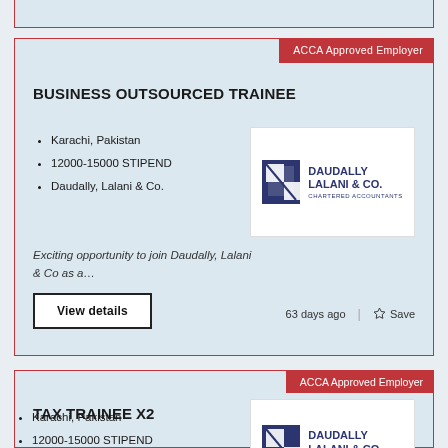[Figure (screenshot): Partial job listing card at top of page, cut off]
BUSINESS OUTSOURCED TRAINEE
Karachi, Pakistan
12000-15000 STIPEND
Daudally, Lalani & Co.
Exciting opportunity to join Daudally, Lalani & Co as a…
63 days ago
Save
TAX TRAINEE X2
Karachi, Pakistan
12000-15000 STIPEND
Daudally, Lalani & Co.